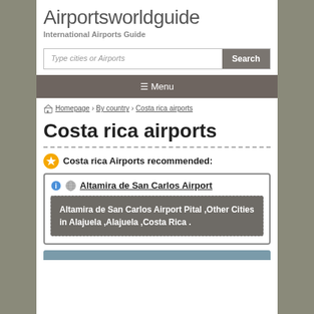Airportsworldguide — International Airports Guide
Type cities or Airports — Search
☰ Menu
Homepage › By country › Costa rica airports
Costa rica airports
Costa rica Airports recommended:
Altamira de San Carlos Airport
Altamira de San Carlos Airport Pital ,Other Cities in Alajuela ,Alajuela ,Costa Rica .